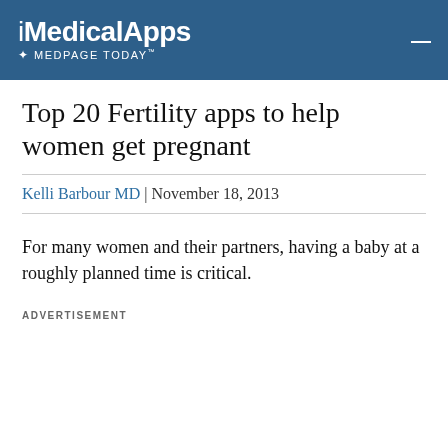iMedicalApps + MEDPAGE TODAY
Top 20 Fertility apps to help women get pregnant
Kelli Barbour MD | November 18, 2013
For many women and their partners, having a baby at a roughly planned time is critical.
ADVERTISEMENT